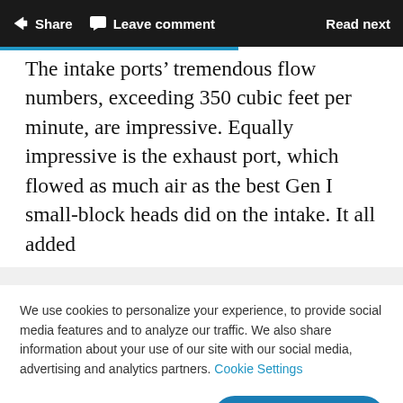Share  Leave comment  Read next
The intake ports’ tremendous flow numbers, exceeding 350 cubic feet per minute, are impressive. Equally impressive is the exhaust port, which flowed as much air as the best Gen I small-block heads did on the intake. It all added
We use cookies to personalize your experience, to provide social media features and to analyze our traffic. We also share information about your use of our site with our social media, advertising and analytics partners. Cookie Settings
Accept all cookies